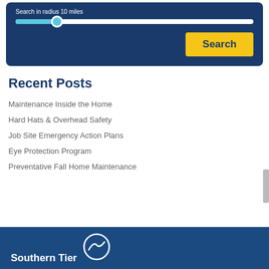[Figure (screenshot): Search widget with slider control and yellow Search button on dark blue background]
Recent Posts
Maintenance Inside the Home
Hard Hats & Overhead Safety
Job Site Emergency Action Plans
Eye Protection Program
Preventative Fall Home Maintenance
Southern Tier